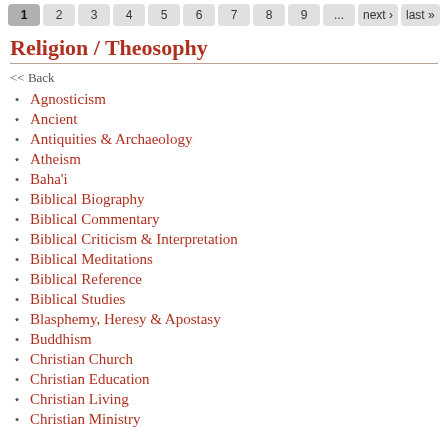1 2 3 4 5 6 7 8 9 ... next › last »
Religion / Theosophy
<< Back
Agnosticism
Ancient
Antiquities & Archaeology
Atheism
Baha'i
Biblical Biography
Biblical Commentary
Biblical Criticism & Interpretation
Biblical Meditations
Biblical Reference
Biblical Studies
Blasphemy, Heresy & Apostasy
Buddhism
Christian Church
Christian Education
Christian Living
Christian Ministry
Christian Ritual & Practice